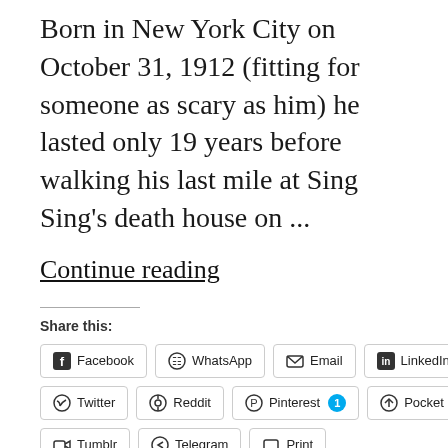Born in New York City on October 31, 1912 (fitting for someone as scary as him) he lasted only 19 years before walking his last mile at Sing Sing's death house on ...
Continue reading
Share this:
Facebook  WhatsApp  Email  LinkedIn  Twitter  Reddit  Pinterest 1  Pocket  Tumblr  Telegram  Print
Loading...